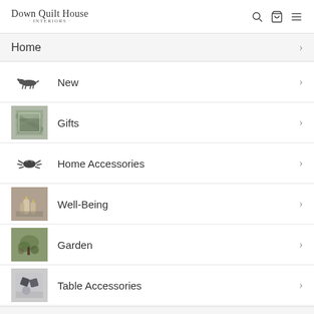Down Quilt House INTERIORS
Home
New
Gifts
Home Accessories
Well-Being
Garden
Table Accessories
Fabrics, Wallpapers & Poles
Bespoke Interior Design